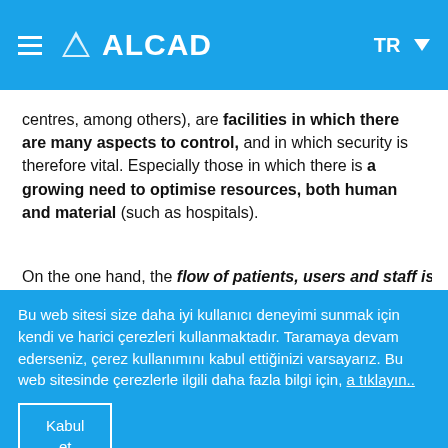ALCAD  TR
centres, among others), are facilities in which there are many aspects to control, and in which security is therefore vital. Especially those in which there is a growing need to optimise resources, both human and material (such as hospitals).
On the one hand, the flow of patients, users and staff is
Bu web sitesi size daha iyi kullanıcı deneyimi sunmak için kendi ve harici çerezleri kullanmaktadır. Taramaya devam ederseniz, çerez kullanımını kabul ettiğinizi varsayarız. Bu web sitesinde çerezlerle ilgili daha fazla bilgi için, a tıklayın..
Kabul et